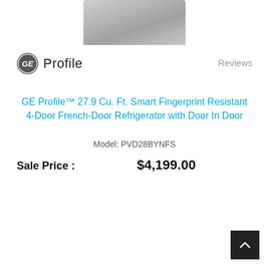[Figure (photo): Partial view of a stainless steel refrigerator top section]
[Figure (logo): GE Profile logo with GE circular emblem and 'Profile' text]
Reviews
GE Profile™ 27.9 Cu. Ft. Smart Fingerprint Resistant 4-Door French-Door Refrigerator with Door In Door
Model: PVD28BYNFS
Sale Price :    $4,199.00